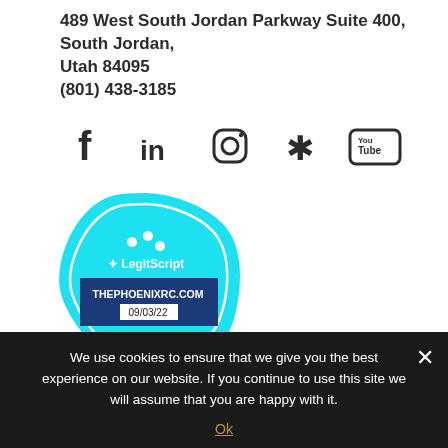489 West South Jordan Parkway Suite 400, South Jordan, Utah 84095
(801) 438-3185
[Figure (infographic): Social media icons row: Facebook, LinkedIn, Instagram, Yelp, YouTube]
[Figure (logo): LegitScript Certified badge for THEPHOENIXRC.COM 09/03/22]
We use cookies to ensure that we give you the best experience on our website. If you continue to use this site we will assume that you are happy with it.
Ok